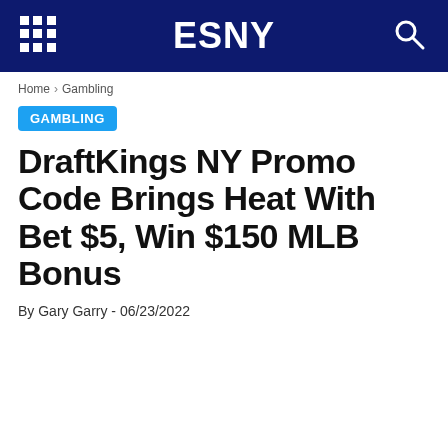ESNY
Home › Gambling
GAMBLING
DraftKings NY Promo Code Brings Heat With Bet $5, Win $150 MLB Bonus
By Gary Garry - 06/23/2022